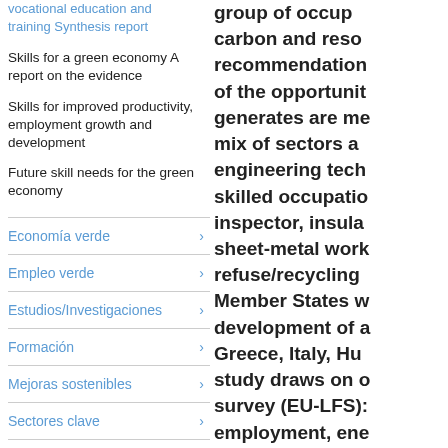vocational education and training Synthesis report
Skills for a green economy A report on the evidence
Skills for improved productivity, employment growth and development
Future skill needs for the green economy
Economía verde
Empleo verde
Estudios/Investigaciones
Formación
Mejoras sostenibles
Sectores clave
Tecnologías verdes
group of occup... carbon and reso... recommendations of the opportunit... generates are me... mix of sectors a... engineering tec... skilled occupatio... inspector, insula... sheet-metal wor... refuse/recycling ... Member States w... development of a... Greece, Italy, Hu... study draws on o... survey (EU-LFS)... employment, ene... national experts ... survey data from... findings through...
Green skills and en...